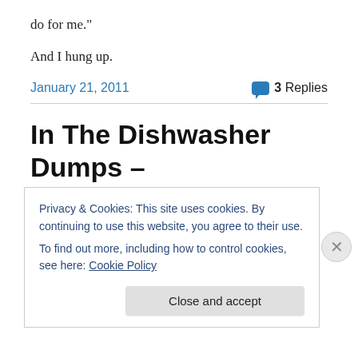do for me."
And I hung up.
January 21, 2011   3 Replies
In The Dishwasher Dumps – Part 2
We barely survived the weekend. Really.
Privacy & Cookies: This site uses cookies. By continuing to use this website, you agree to their use.
To find out more, including how to control cookies, see here: Cookie Policy
Close and accept